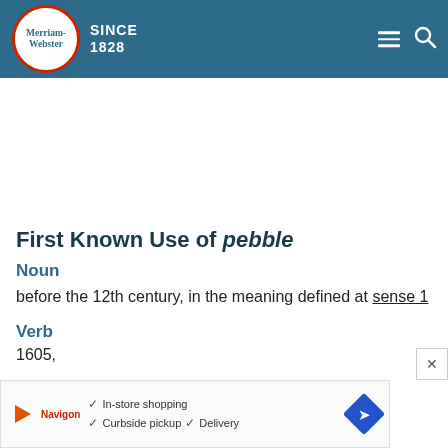Merriam-Webster SINCE 1828
First Known Use of pebble
Noun
before the 12th century, in the meaning defined at sense 1
Verb
1605,
[Figure (screenshot): Advertisement banner showing store navigation ad with play button, brand logo, checkmarks for In-store shopping, Curbside pickup, Delivery, and a blue diamond navigation icon]